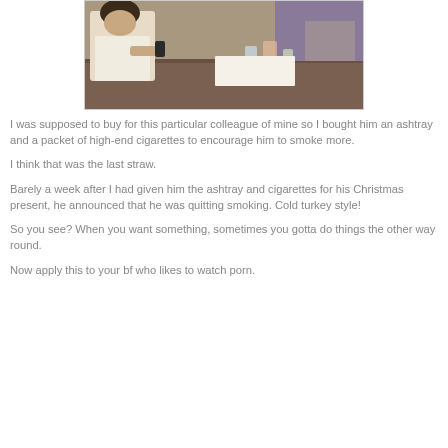[Figure (photo): Photo of a person at a restaurant/bar table, appearing to use a lighter or phone, with drinks visible on the table.]
I was supposed to buy for this particular colleague of mine so I bought him an ashtray and a packet of high-end cigarettes to encourage him to smoke more.
I think that was the last straw.
Barely a week after I had given him the ashtray and cigarettes for his Christmas present, he announced that he was quitting smoking. Cold turkey style!
So you see? When you want something, sometimes you gotta do things the other way round.
Now apply this to your bf who likes to watch porn.